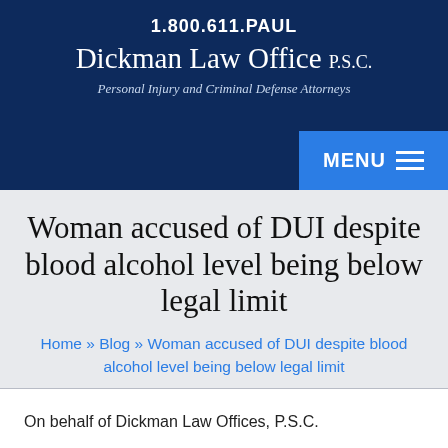1.800.611.PAUL
Dickman Law Office P.S.C.
Personal Injury and Criminal Defense Attorneys
[Figure (screenshot): Blue MENU button with hamburger icon in top-right of header]
Woman accused of DUI despite blood alcohol level being below legal limit
Home » Blog » Woman accused of DUI despite blood alcohol level being below legal limit
On behalf of Dickman Law Offices, P.S.C.